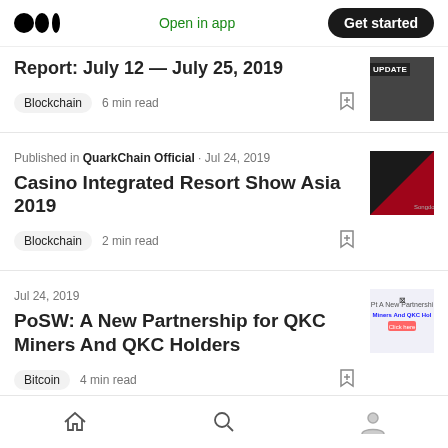Medium logo | Open in app | Get started
Report: July 12 — July 25, 2019
Blockchain  6 min read
Published in QuarkChain Official · Jul 24, 2019
Casino Integrated Resort Show Asia 2019
Blockchain  2 min read
Jul 24, 2019
PoSW: A New Partnership for QKC Miners And QKC Holders
Bitcoin  4 min read